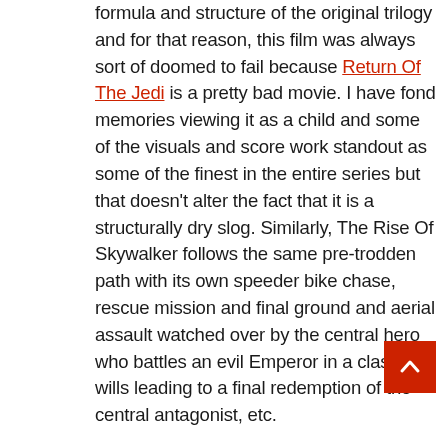formula and structure of the original trilogy and for that reason, this film was always sort of doomed to fail because Return Of The Jedi is a pretty bad movie. I have fond memories viewing it as a child and some of the visuals and score work standout as some of the finest in the entire series but that doesn't alter the fact that it is a structurally dry slog. Similarly, The Rise Of Skywalker follows the same pre-trodden path with its own speeder bike chase, rescue mission and final ground and aerial assault watched over by the central hero who battles an evil Emperor in a clash of wills leading to a final redemption of the central antagonist, etc.

One thing it does have that ROTJ didn't is an extremely rushed pace. Where Jedi was languid and bisected, TROS is hurried and strained with character arcs. It also, most likely for the nature of its finale, pushes more of a comedic tone than its two predecessors (but for the most part, I found it